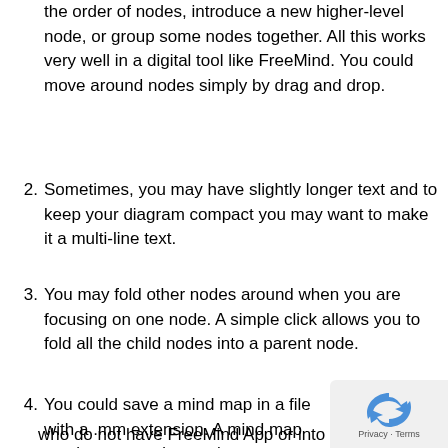the order of nodes, introduce a new higher-level node, or group some nodes together. All this works very well in a digital tool like FreeMind. You could move around nodes simply by drag and drop.
2. Sometimes, you may have slightly longer text and to keep your diagram compact you may want to make it a multi-line text.
3. You may fold other nodes around when you are focusing on one node. A simple click allows you to fold all the child nodes into a parent node.
4. You could save a mind map in a file with a .mm extension. A mind map can be exported as a picture to share with others who do not have FreeMind App or into an